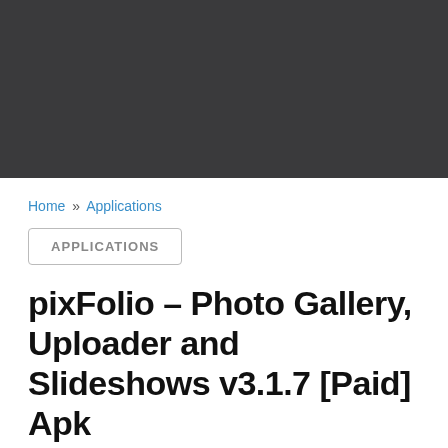[Figure (other): Dark gray header banner area at the top of the webpage]
Home » Applications
APPLICATIONS
pixFolio – Photo Gallery, Uploader and Slideshows v3.1.7 [Paid] Apk
22/07/2021    No Comments